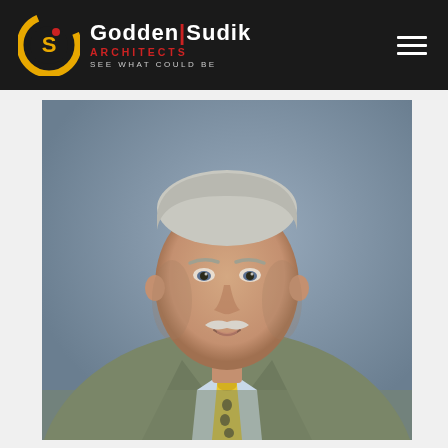Godden|Sudik ARCHITECTS — SEE WHAT COULD BE
[Figure (photo): Professional headshot of an older man with white/gray hair and a white mustache, wearing a green/gray tweed sport coat, light blue dress shirt, and yellow patterned tie, smiling slightly, against a gray-blue studio background.]